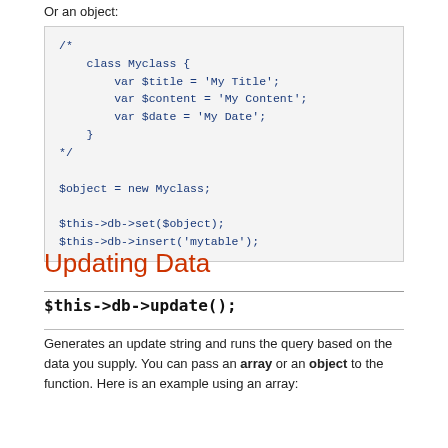Or an object:
/*
    class Myclass {
        var $title = 'My Title';
        var $content = 'My Content';
        var $date = 'My Date';
    }
*/

$object = new Myclass;

$this->db->set($object);
$this->db->insert('mytable');
Updating Data
$this->db->update();
Generates an update string and runs the query based on the data you supply. You can pass an array or an object to the function. Here is an example using an array: